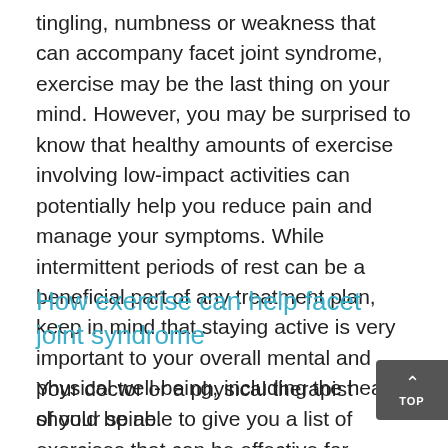tingling, numbness or weakness that can accompany facet joint syndrome, exercise may be the last thing on your mind. However, you may be surprised to know that healthy amounts of exercise involving low-impact activities can potentially help you reduce pain and manage your symptoms. While intermittent periods of rest can be a beneficial part of any treatment plan, keep in mind that staying active is very important to your overall mental and physical well-being, including the health of your spine.
How exercise can help facet joint syndrome
Your doctor or a physical therapist should be able to give you a list of exercises that can be effective for patients dealing with facet joint syndrome in the